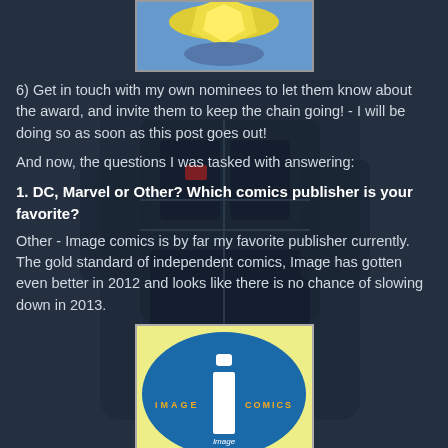[Figure (illustration): Partial top image showing a character with golden/yellow coloring, partially cropped at top of page]
6) Get in touch with my own nominees to let them know about the award, and invite them to keep the chain going! - I will be doing so as soon as this post goes out!
And now, the questions I was tasked with answering:
1. DC, Marvel or Other? Which comics publisher is your favorite?
Other - Image comics is by far my favorite publisher currently. The gold standard of independent comics, Image has gotten even better in 2012 and looks like there is no chance of slowing down in 2013.
[Figure (logo): Image Comics logo - yellow background with blue oval shape, white letter 'i', text 'IMAGE COMICS' in yellow/orange letters]
2. Who is your favorite writer or artist currently working?